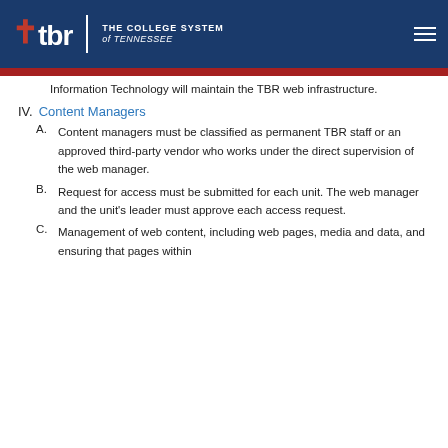tbr | THE COLLEGE SYSTEM of TENNESSEE
Information Technology will maintain the TBR web infrastructure.
IV. Content Managers
A. Content managers must be classified as permanent TBR staff or an approved third-party vendor who works under the direct supervision of the web manager.
B. Request for access must be submitted for each unit. The web manager and the unit's leader must approve each access request.
C. Management of web content, including web pages, media and data, and ensuring that pages within